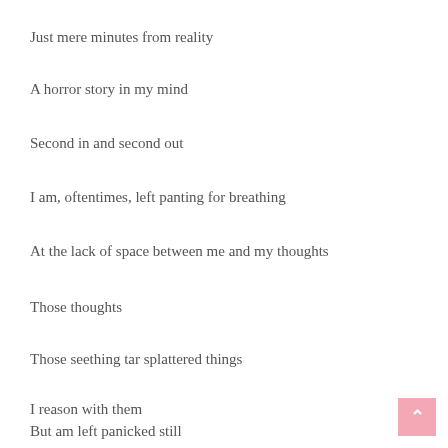Just mere minutes from reality
A horror story in my mind
Second in and second out
I am, oftentimes, left panting for breathing
At the lack of space between me and my thoughts
Those thoughts
Those seething tar splattered things
I reason with them
But am left panicked still